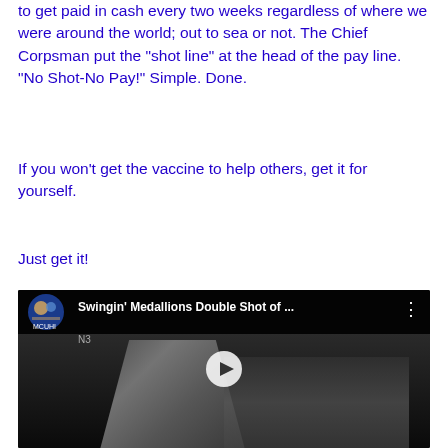to get paid in cash every two weeks regardless of where we were around the world; out to sea or not. The Chief Corpsman put the “shot line” at the head of the pay line. “No Shot-No Pay!” Simple. Done.
If you won’t get the vaccine to help others, get it for yourself.
Just get it!
[Figure (screenshot): Embedded YouTube video thumbnail showing a black and white scene with a woman dancing and a band in the background. Video title: Swingin' Medallions Double Shot of ...]